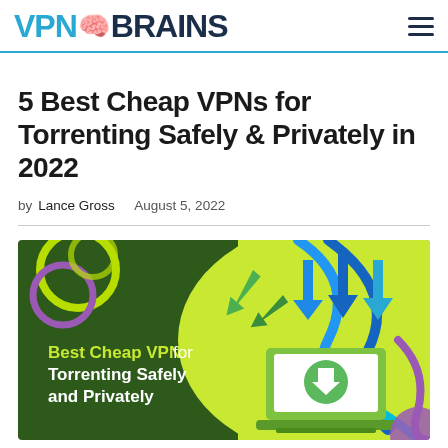VPN BRAINS
5 Best Cheap VPNs for Torrenting Safely & Privately in 2022
by Lance Gross   August 5, 2022
[Figure (illustration): Promotional banner image with dark green background and yellow-green accents. Text reads 'Best Cheap VPNs for Torrenting Safely and Privately'. Right side shows a laptop with a download icon and colorful arrows pointing downward.]